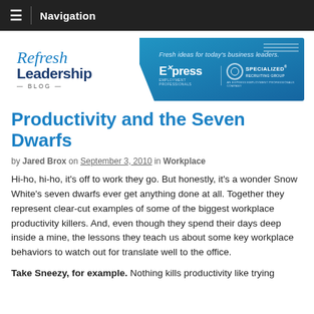Navigation
[Figure (logo): Refresh Leadership Blog banner with Express Employment Professionals and Specialized Recruiting Group logos. Tagline: Fresh ideas for today's business leaders.]
Productivity and the Seven Dwarfs
by Jared Brox on September 3, 2010 in Workplace
Hi-ho, hi-ho, it's off to work they go. But honestly, it's a wonder Snow White's seven dwarfs ever get anything done at all. Together they represent clear-cut examples of some of the biggest workplace productivity killers. And, even though they spend their days deep inside a mine, the lessons they teach us about some key workplace behaviors to watch out for translate well to the office.
Take Sneezy, for example. Nothing kills productivity like trying